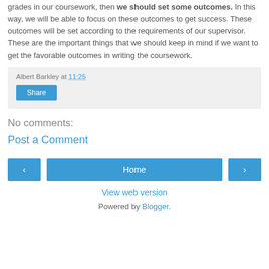grades in our coursework, then we should set some outcomes. In this way, we will be able to focus on these outcomes to get success. These outcomes will be set according to the requirements of our supervisor. These are the important things that we should keep in mind if we want to get the favorable outcomes in writing the coursework.
Albert Barkley at 11:25
Share
No comments:
Post a Comment
‹  Home  ›
View web version
Powered by Blogger.